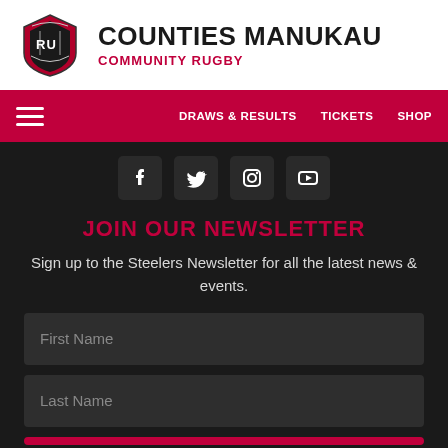[Figure (logo): Counties Manukau Rugby Union shield logo — circular red/black/white crest]
COUNTIES MANUKAU
COMMUNITY RUGBY
DRAWS & RESULTS   TICKETS   SHOP
[Figure (infographic): Social media icons row: Facebook, Twitter, Instagram, YouTube on dark background]
JOIN OUR NEWSLETTER
Sign up to the Steelers Newsletter for all the latest news & events.
First Name
Last Name